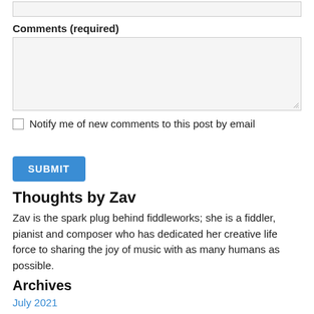Comments (required)
Notify me of new comments to this post by email
SUBMIT
Thoughts by Zav
Zav is the spark plug behind fiddleworks; she is a fiddler, pianist and composer who has dedicated her creative life force to sharing the joy of music with as many humans as possible.
Archives
July 2021